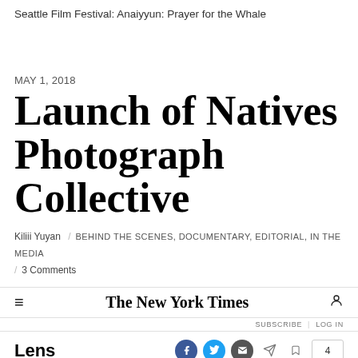Seattle Film Festival: Anaiyyun: Prayer for the Whale
MAY 1, 2018
Launch of Natives Photograph Collective
Kiliii Yuyan / BEHIND THE SCENES, DOCUMENTARY, EDITORIAL, IN THE MEDIA / 3 Comments
[Figure (screenshot): The New York Times website header with hamburger menu, NYT logo, user icon, SUBSCRIBE and LOG IN links, Lens branding, social sharing icons (Facebook, Twitter, email, share, bookmark), comment count of 4, and article headline 'Native American Photographers Unite']